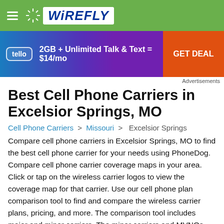WIREFLY
[Figure (infographic): Tello advertisement banner: tello logo, '2GB + Unlimited Talk & Text = $14/mo', GET DEAL button]
Advertisements
Best Cell Phone Carriers in Excelsior Springs, MO
Cell Phone Carriers > Missouri > Excelsior Springs
Compare cell phone carriers in Excelsior Springs, MO to find the best cell phone carrier for your needs using PhoneDog. Compare cell phone carrier coverage maps in your area. Click or tap on the wireless carrier logos to view the coverage map for that carrier. Use our cell phone plan comparison tool to find and compare the wireless carrier plans, pricing, and more. The comparison tool includes major and minor carriers. The minor carriers and MVNOs run on the networks of one of the major carriers.